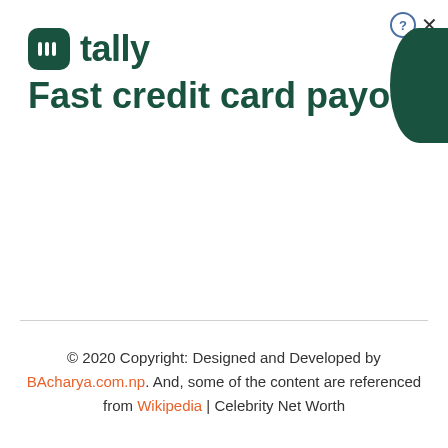[Figure (logo): Tally app logo and tagline advertisement banner reading 'Fast credit card payoff' with a dark green rounded square icon]
© 2020 Copyright: Designed and Developed by BAcharya.com.np. And, some of the content are referenced from Wikipedia | Celebrity Net Worth